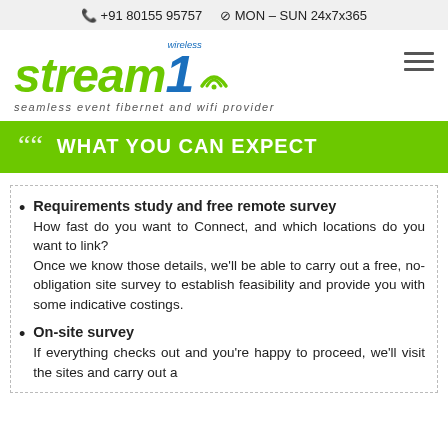+91 80155 95757   MON – SUN 24x7x365
[Figure (logo): Stream1 Wireless logo — green italic 'stream' text, blue '1' with wifi arc and 'wireless' label, tagline: seamless event fibernet and wifi provider]
WHAT YOU CAN EXPECT
Requirements study and free remote survey
How fast do you want to Connect, and which locations do you want to link?
Once we know those details, we'll be able to carry out a free, no-obligation site survey to establish feasibility and provide you with some indicative costings.
On-site survey
If everything checks out and you're happy to proceed, we'll visit the sites and carry out a